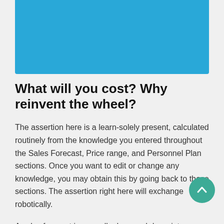[Figure (other): Blue decorative banner at the top of the page]
What will you cost? Why reinvent the wheel?
The assertion here is a learn-solely present, calculated routinely from the knowledge you entered throughout the Sales Forecast, Price range, and Personnel Plan sections. Once you want to edit or change any knowledge, you may obtain this by going back to those sections. The assertion right here will exchange robotically.
A sales forecast is normally damaged down into a variety of rows, with a row for each core services or merchandise that you